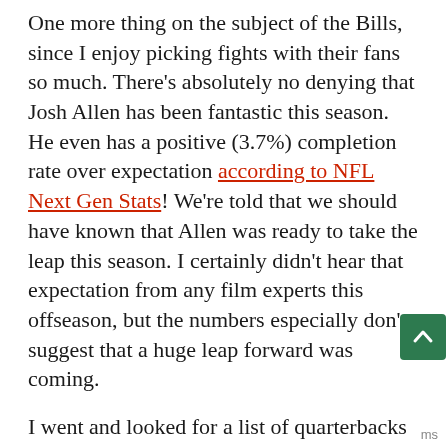One more thing on the subject of the Bills, since I enjoy picking fights with their fans so much. There's absolutely no denying that Josh Allen has been fantastic this season. He even has a positive (3.7%) completion rate over expectation according to NFL Next Gen Stats! We're told that we should have known that Allen was ready to take the leap this season. I certainly didn't hear that expectation from any film experts this offseason, but the numbers especially don't suggest that a huge leap forward was coming.
I went and looked for a list of quarterbacks who had similar passing performances to Allen in their first two years. I ignored rushing; we know Allen is valuable on the ground, but the questions were about his abilities as a passer. I found all the quarterbacks who fit these baselines:
Less than 8 DVA Rows ending with 222...